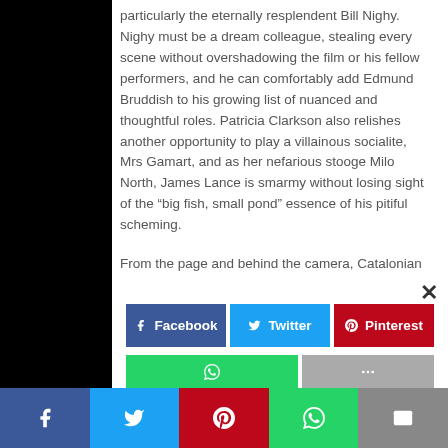particularly the eternally resplendent Bill Nighy. Nighy must be a dream colleague, stealing every scene without overshadowing the film or his fellow performers, and he can comfortably add Edmund Bruddish to his growing list of nuanced and thoughtful roles. Patricia Clarkson also relishes another opportunity to play a villainous socialite, Mrs Gamart, and as her nefarious stooge Milo North, James Lance is smarmy without losing sight of the “big fish, small pond” essence of his pitiful scheming.
From the page and behind the camera, Catalonian auteur Isabel Coixot adapts Penelope Fitzgerald’s novel like she’s lived in sleepy English towns all her life. The Bookshop
[Figure (infographic): Social sharing buttons overlay with Facebook (blue), Twitter (cyan), Pinterest (red) buttons in a row, and partial WhatsApp (green) and More (gray) buttons below. A close (x) button is in the top right.]
[Figure (infographic): Bottom sticky share bar with five buttons: Facebook (dark blue), Twitter (light blue), Pinterest (red), WhatsApp (green), Email/envelope (gray).]